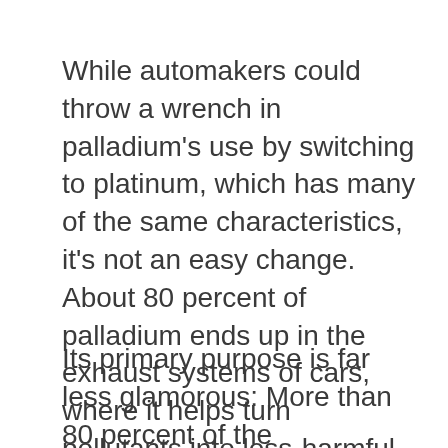While automakers could throw a wrench in palladium's use by switching to platinum, which has many of the same characteristics, it's not an easy change.  About 80 percent of palladium ends up in the exhaust systems of cars, where it helps turn pollutants into less-harmful carbon dioxide and water vapor. (bloomberg.com)
Its primary purpose is far less glamorous: More than 80 percent of the